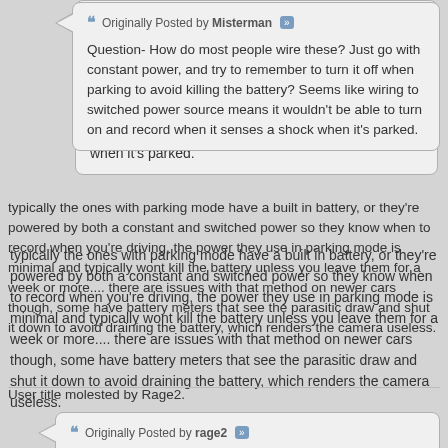Originally Posted by Misterman
Question- How do most people wire these? Just go with constant power, and try to remember to turn it off when parking to avoid killing the battery? Seems like wiring to switched power source means it wouldn't be able to turn on and record when it senses a shock when it's parked.
typically the ones with parking mode have a built in battery, or they're powered by both a constant and switched power so they know when to record when you're driving, the power they use in parking mode is minimal and typically wont kill the battery unless you leave them for a week or more.... there are issues with that method on newer cars though, some have battery meters that see the parasitic draw and shut it down to avoid draining the battery, which renders the camera useless.
User title molested by Rage2.
Originally Posted by rage2
It's not the size that matters, it's the taste it leaves in your mouth.